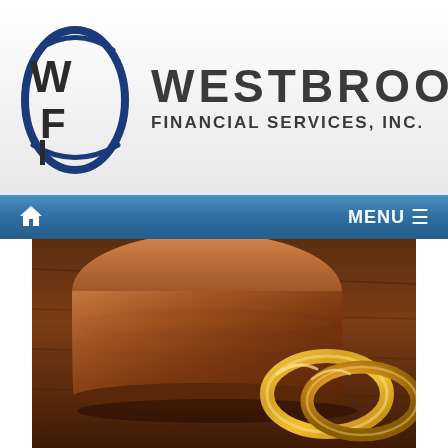[Figure (logo): Westbrook Financial Services, Inc. logo with stylized WF letters in blue ellipse and company name in dark gray uppercase text]
[Figure (screenshot): Navigation bar with home icon on left and MENU hamburger icon on right, blue gradient background]
[Figure (photo): Close-up photo of a wooden judge's gavel block and two gold wedding rings on a dark wooden surface, representing divorce financial planning]